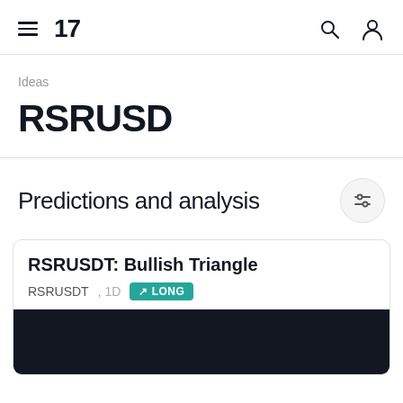TradingView navigation header with hamburger menu, logo '17', search and account icons
Ideas
RSRUSD
Predictions and analysis
RSRUSDT: Bullish Triangle
RSRUSDT, 1D  ↗ LONG